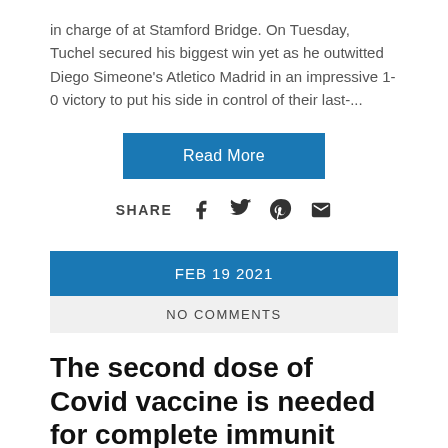in charge of at Stamford Bridge. On Tuesday, Tuchel secured his biggest win yet as he outwitted Diego Simeone's Atletico Madrid in an impressive 1-0 victory to put his side in control of their last-...
Read More
SHARE
FEB 19 2021
NO COMMENTS
The second dose of Covid vaccine is needed for complete immunity, infectious disease specialist Dr...